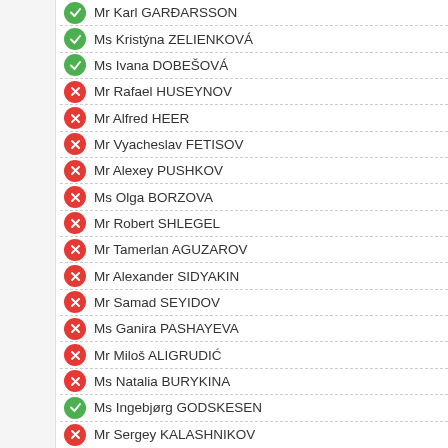Mr Karl GARÐARSSON
Ms Kristýna ZELIENKOVÁ
Ms Ivana DOBEŠOVÁ
Mr Rafael HUSEYNOV
Mr Alfred HEER
Mr Vyacheslav FETISOV
Mr Alexey PUSHKOV
Ms Olga BORZOVA
Mr Robert SHLEGEL
Mr Tamerlan AGUZAROV
Mr Alexander SIDYAKIN
Mr Samad SEYIDOV
Ms Ganira PASHAYEVA
Mr Miloš ALIGRUDIĆ
Ms Natalia BURYKINA
Ms Ingebjørg GODSKESEN
Mr Sergey KALASHNIKOV